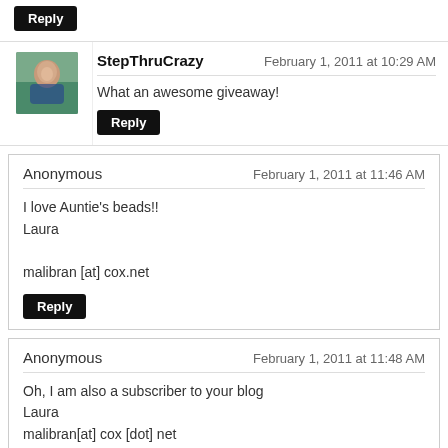Reply (button)
StepThruCrazy — February 1, 2011 at 10:29 AM
What an awesome giveaway!
Reply (button)
Anonymous — February 1, 2011 at 11:46 AM
I love Auntie's beads!!
Laura

malibran [at] cox.net
Reply (button)
Anonymous — February 1, 2011 at 11:48 AM
Oh, I am also a subscriber to your blog
Laura
malibran[at] cox [dot] net